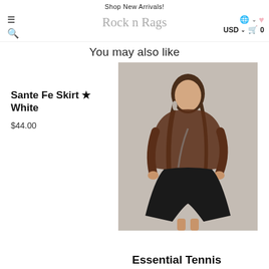Shop New Arrivals!
You may also like
Sante Fe Skirt ★ White
$44.00
[Figure (photo): Young woman with braided hair wearing a brown sheer long-sleeve top and black flared mini skirt, standing against a neutral gray wall]
Essential Tennis